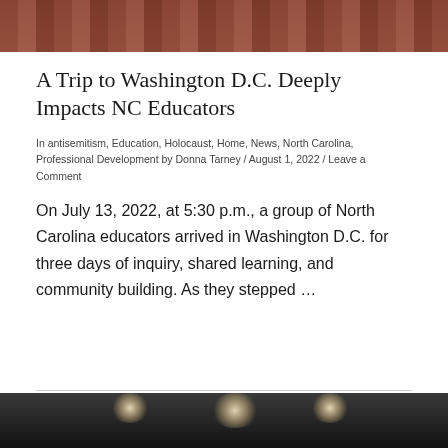[Figure (photo): Top portion of a brick or tiled outdoor surface, cropped at top of page]
A Trip to Washington D.C. Deeply Impacts NC Educators
In antisemitism, Education, Holocaust, Home, News, North Carolina, Professional Development by Donna Tarney / August 1, 2022 / Leave a Comment
On July 13, 2022, at 5:30 p.m., a group of North Carolina educators arrived in Washington D.C. for three days of inquiry, shared learning, and community building. As they stepped …
[Figure (photo): Bottom portion showing interior ceiling with recessed lighting, dark background]